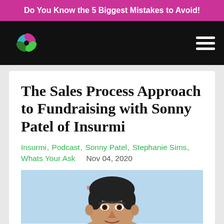Do You Know the 5 Biggest Mistakes to Avoid!
[Figure (logo): Colorful pinwheel/windmill logo on black navigation bar with hamburger menu icon]
The Sales Process Approach to Fundraising with Sonny Patel of Insurmi
Insurmi, Podcast, Sonny Patel, Stephanie Sims, Whats Your Ask   Nov 04, 2020
[Figure (photo): Headshot photo of Sonny Patel, partial view showing face and top of shoulders against a light blue/outdoor background]